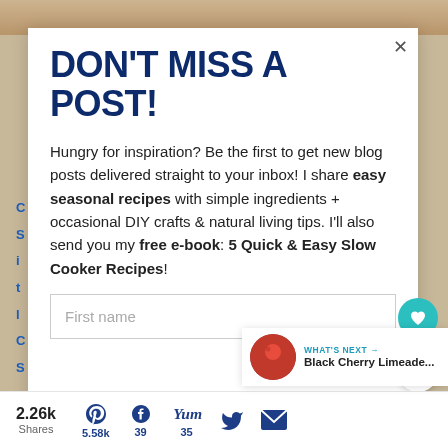DON'T MISS A POST!
Hungry for inspiration? Be the first to get new blog posts delivered straight to your inbox! I share easy seasonal recipes with simple ingredients + occasional DIY crafts & natural living tips. I'll also send you my free e-book: 5 Quick & Easy Slow Cooker Recipes!
First name
2.26k Shares  5.58k  39  35
WHAT'S NEXT → Black Cherry Limeade...